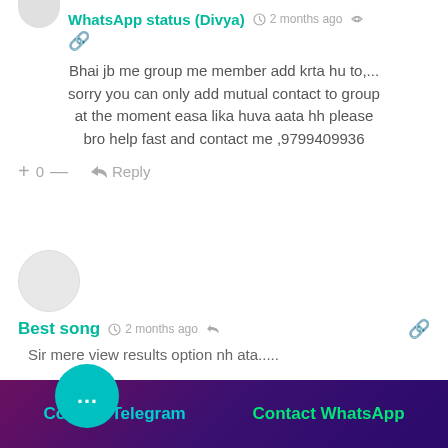WhatsApp status (Divya)  2 months ago
Bhai jb me group me member add krta hu to,... sorry you can only add mutual contact to group at the moment easa lika huva aata hh please bro help fast and contact me ,9799409936
+ 0 — Reply
Best song  2 months ago
Sir mere view results option nh ata.....
+ 0 — Reply
Contact Telegram   Contact WhatsApp